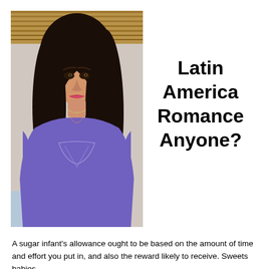[Figure (photo): A young woman with long black hair, wearing a purple top, smiling at the camera. Indoor setting with a wooden ceiling visible in the background.]
Latin America Romance Anyone?
A sugar infant's allowance ought to be based on the amount of time and effort you put in, and also the reward likely to receive. Sweets babies